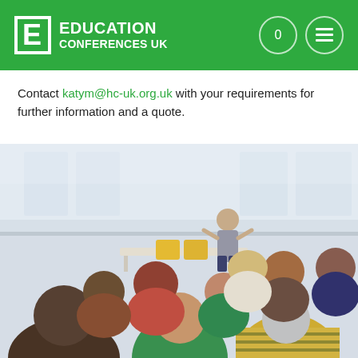[Figure (logo): Education Conferences UK logo — white letter E in box, white text 'EDUCATION CONFERENCES UK' on green background, with circular icons top right]
Contact katym@hc-uk.org.uk with your requirements for further information and a quote.
[Figure (photo): A conference/training session photo showing an audience of people seated with their backs to the camera, facing a female presenter standing at the front of a bright room with large windows.]